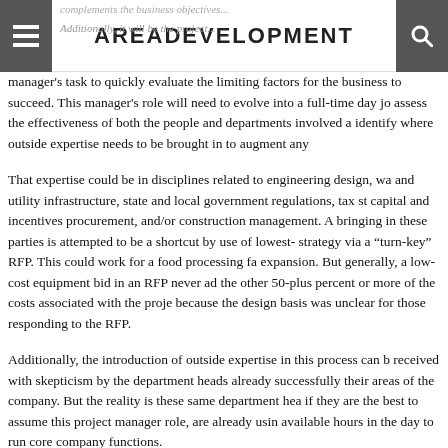AreaDevelopment
complements the business objectives. Additionally, it will be the project manager's task to quickly evaluate the limiting factors for the business to succeed. This manager's role will need to evolve into a full-time day job to assess the effectiveness of both the people and departments involved and identify where outside expertise needs to be brought in to augment any...
That expertise could be in disciplines related to engineering design, water and utility infrastructure, state and local government regulations, tax structuring, capital and incentives procurement, and/or construction management. A... bringing in these parties is attempted to be a shortcut by use of lowest-cost strategy via a "turn-key" RFP. This could work for a food processing facility expansion. But generally, a low-cost equipment bid in an RFP never addresses the other 50-plus percent or more of the costs associated with the project because the design basis was unclear for those responding to the RFP.
Additionally, the introduction of outside expertise in this process can be received with skepticism by the department heads already successfully running their areas of the company. But the reality is these same department heads, if they are the best to assume this project manager role, are already using all available hours in the day to run core company functions.
This initial step in establishing the business case for an expansion is far from an easy one, and it will take more time and effort than your company's te...